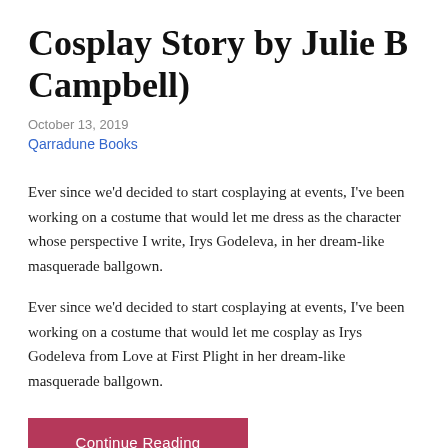Cosplay Story by Julie B Campbell)
October 13, 2019
Qarradune Books
Ever since we'd decided to start cosplaying at events, I've been working on a costume that would let me dress as the character whose perspective I write, Irys Godeleva, in her dream-like masquerade ballgown.
Ever since we'd decided to start cosplaying at events, I've been working on a costume that would let me cosplay as Irys Godeleva from Love at First Plight in her dream-like masquerade ballgown.
Continue Reading →